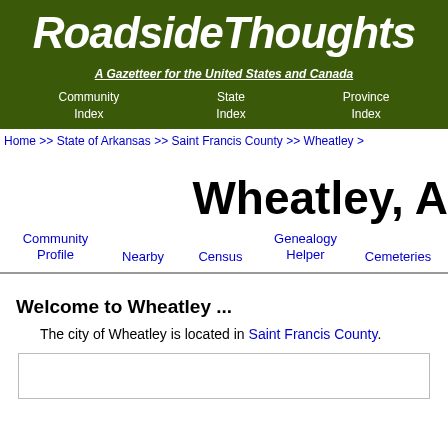RoadsideThoughts
A Gazetteer for the United States and Canada
Community Index | State Index | Province Index
Home >> State of Arkansas >> Saint Francis County >> Wheatley >
Wheatley, A
Community Profile | Nearby | Census | Genealogy Helper | Cemeteries
Welcome to Wheatley ...
The city of Wheatley is located in Saint Francis County.